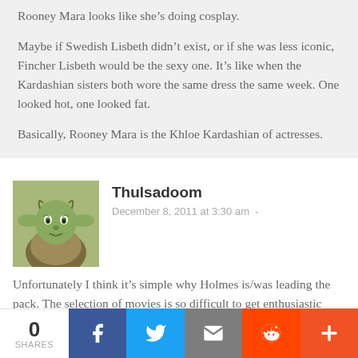Rooney Mara looks like she's doing cosplay.

Maybe if Swedish Lisbeth didn't exist, or if she was less iconic, Fincher Lisbeth would be the sexy one. It's like when the Kardashian sisters both wore the same dress the same week. One looked hot, one looked fat.

Basically, Rooney Mara is the Khloe Kardashian of actresses.
Thulsadoom
December 8, 2011 at 3:30 am -
Unfortunately I think it's simple why Holmes is/was leading the pack. The selection of movies is so difficult to get enthusiastic about, that a film which at least